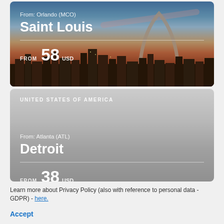[Figure (photo): Travel deal card showing Saint Louis skyline with Gateway Arch at dusk/sunset. Orange and blue sky, city buildings silhouette.]
From: Orlando (MCO)
Saint Louis
FROM 58 USD
[Figure (photo): Travel deal card for Detroit with gray gradient background. Shows UNITED STATES OF AMERICA region label.]
UNITED STATES OF AMERICA
From: Atlanta (ATL)
Detroit
FROM 38 USD
Learn more about Privacy Policy (also with reference to personal data - GDPR) - here.
Accept